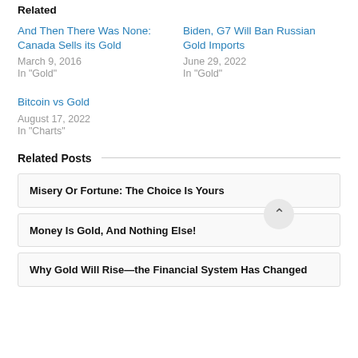Related
And Then There Was None: Canada Sells its Gold
March 9, 2016
In "Gold"
Biden, G7 Will Ban Russian Gold Imports
June 29, 2022
In "Gold"
Bitcoin vs Gold
August 17, 2022
In "Charts"
Related Posts
Misery Or Fortune: The Choice Is Yours
Money Is Gold, And Nothing Else!
Why Gold Will Rise—the Financial System Has Changed